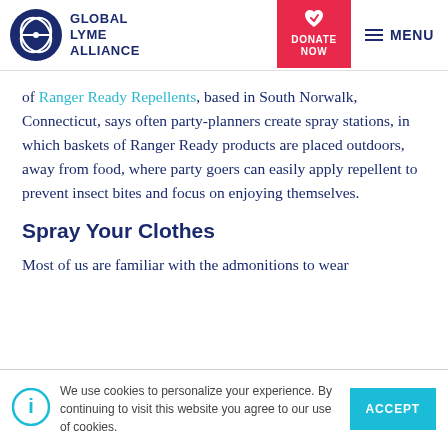Global Lyme Alliance — DONATE NOW — MENU
of Ranger Ready Repellents, based in South Norwalk, Connecticut, says often party-planners create spray stations, in which baskets of Ranger Ready products are placed outdoors, away from food, where party goers can easily apply repellent to prevent insect bites and focus on enjoying themselves.
Spray Your Clothes
Most of us are familiar with the admonitions to wear
We use cookies to personalize your experience. By continuing to visit this website you agree to our use of cookies.